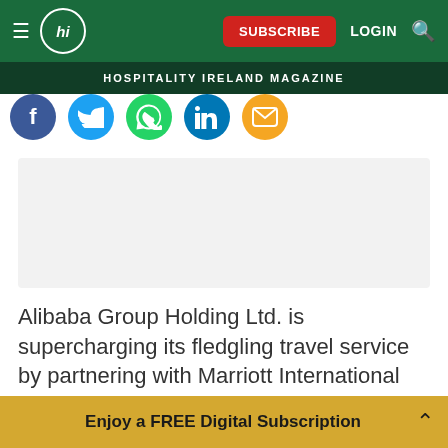hi SUBSCRIBE LOGIN
HOSPITALITY IRELAND MAGAZINE
[Figure (infographic): Social media sharing icons: Facebook, Twitter, WhatsApp, LinkedIn, Email]
[Figure (other): Advertisement placeholder box]
Alibaba Group Holding Ltd. is supercharging its fledgling travel service by partnering with Marriott International Inc., the world's largest hotel operator with some 6,000 properties globally.
Enjoy a FREE Digital Subscription